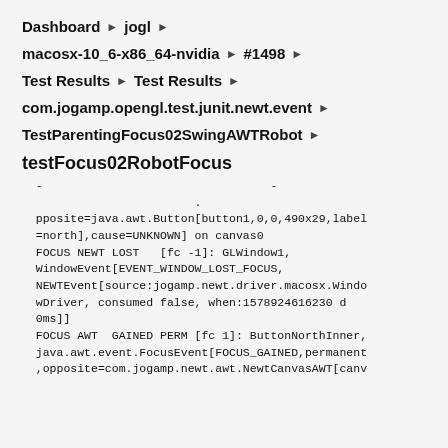Dashboard ▶ jogl ▶
macosx-10_6-x86_64-nvidia ▶ #1498 ▶
Test Results ▶ Test Results ▶
com.jogamp.opengl.test.junit.newt.event ▶
TestParentingFocus02SwingAWTRobot ▶
testFocus02RobotFocus
pposite=java.awt.Button[button1,0,0,490x29,label=north],cause=UNKNOWN] on canvas0
FOCUS NEWT LOST   [fc -1]: GLWindow1,
WindowEvent[EVENT_WINDOW_LOST_FOCUS,
NEWTEvent[source:jogamp.newt.driver.macosx.WindowDriver, consumed false, when:1578924616230 d 0ms]]
FOCUS AWT  GAINED PERM [fc 1]: ButtonNorthInner,
java.awt.event.FocusEvent[FOCUS_GAINED,permanent,opposite=com.jogamp.newt.awt.NewtCanvasAWT[canv